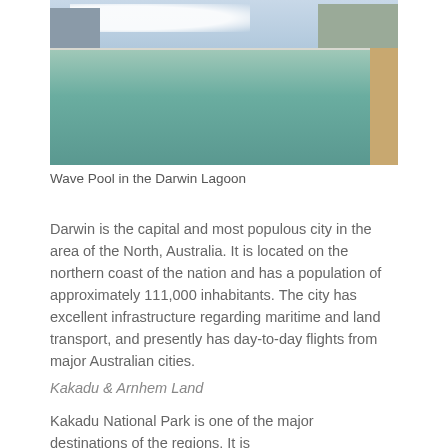[Figure (photo): Aerial view of the Wave Pool in the Darwin Lagoon, showing a large outdoor pool with turquoise-green water, swimmers, surrounding buildings and wooden deck on the right, under a partly cloudy sky.]
Wave Pool in the Darwin Lagoon
Darwin is the capital and most populous city in the area of the North, Australia. It is located on the northern coast of the nation and has a population of approximately 111,000 inhabitants. The city has excellent infrastructure regarding maritime and land transport, and presently has day-to-day flights from major Australian cities.
Kakadu & Arnhem Land
Kakadu National Park is one of the major destinations of the regions. It is